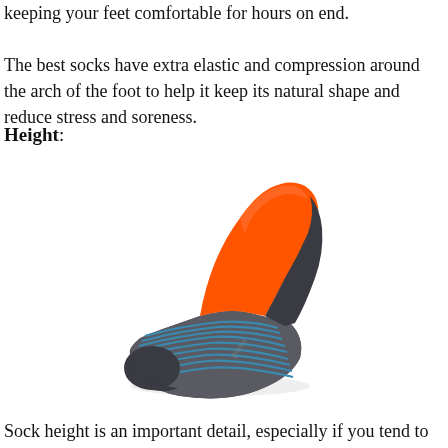keeping your feet comfortable for hours on end. The best socks have extra elastic and compression around the arch of the foot to help it keep its natural shape and reduce stress and soreness.
Height:
[Figure (photo): An orange and gray athletic no-show sock with blue striped pattern along the sole, shown from the side at an angle.]
Sock height is an important detail, especially if you tend to have sensitive skin.